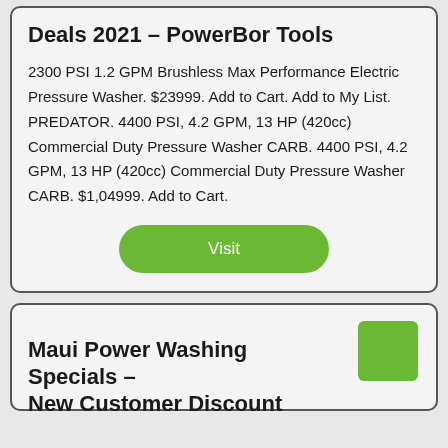Deals 2021 – PowerBor Tools
2300 PSI 1.2 GPM Brushless Max Performance Electric Pressure Washer. $23999. Add to Cart. Add to My List. PREDATOR. 4400 PSI, 4.2 GPM, 13 HP (420cc) Commercial Duty Pressure Washer CARB. 4400 PSI, 4.2 GPM, 13 HP (420cc) Commercial Duty Pressure Washer CARB. $1,04999. Add to Cart.
[Figure (other): Green rounded rectangle button labeled 'Visit']
Maui Power Washing Specials – New Customer Discount
[Figure (other): Solid green square decorative element in top-right corner of card]